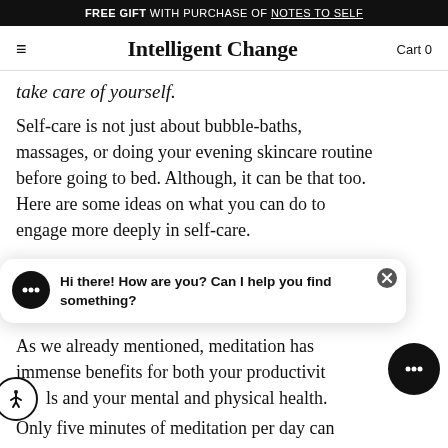FREE GIFT WITH PURCHASE OF NOTES TO SELF
Intelligent Change  Cart 0
take care of yourself.
Self-care is not just about bubble-baths, massages, or doing your evening skincare routine before going to bed. Although, it can be that too. Here are some ideas on what you can do to engage more deeply in self-care.
[Figure (screenshot): Chat popup widget with message: Hi there! How are you? Can I help you find something?]
As we already mentioned, meditation has immense benefits for both your productivity and your mental and physical health.
Only five minutes of meditation per day can